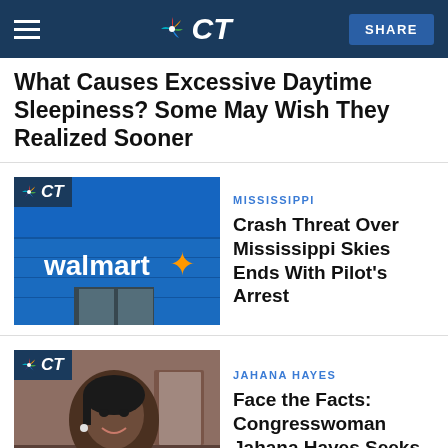NBC CT
What Causes Excessive Daytime Sleepiness? Some May Wish They Realized Sooner
[Figure (photo): Walmart store exterior with blue sign and yellow star logo, NBC CT badge overlay]
MISSISSIPPI
Crash Threat Over Mississippi Skies Ends With Pilot's Arrest
[Figure (photo): Congresswoman Jahana Hayes smiling, wearing dark coat, NBC CT badge overlay]
JAHANA HAYES
Face the Facts: Congresswoman Jahana Hayes Seeks Third Term